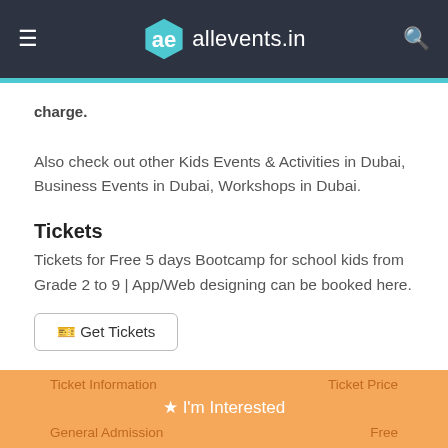allevents.in
charge.
Also check out other Kids Events & Activities in Dubai, Business Events in Dubai, Workshops in Dubai.
Tickets
Tickets for Free 5 days Bootcamp for school kids from Grade 2 to 9 | App/Web designing can be booked here.
Get Tickets
| Ticket Information | Ticket Price |
| --- | --- |
| General Admission | Free |